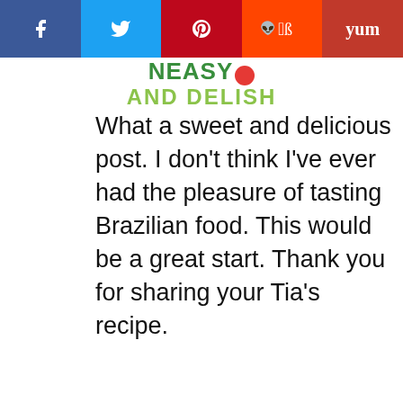Easy and Delish - social sharing bar with Facebook, Twitter, Pinterest, Reddit, Yummly
[Figure (logo): Easy and Delish logo with green text and red circle]
What a sweet and delicious post. I don't think I've ever had the pleasure of tasting Brazilian food. This would be a great start. Thank you for sharing your Tia's recipe.
Reply
WHAT'S NEXT → 5-Ingredient Easter Rabb...
[Figure (photo): Thumbnail image for Easter Rabbit recipe]
[Figure (infographic): Operation Gratitude advertisement banner with thank you image and firefighters]